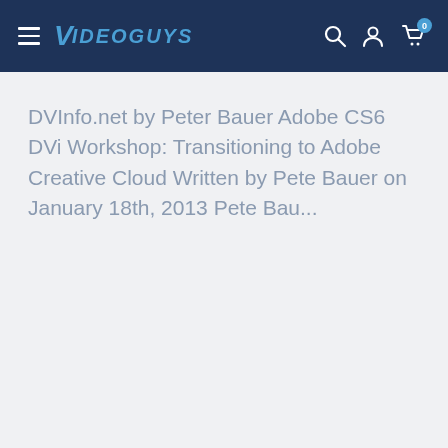Videoguys
DVInfo.net by Peter Bauer Adobe CS6 DVi Workshop: Transitioning to Adobe Creative Cloud Written by Pete Bauer on January 18th, 2013 Pete Bau...